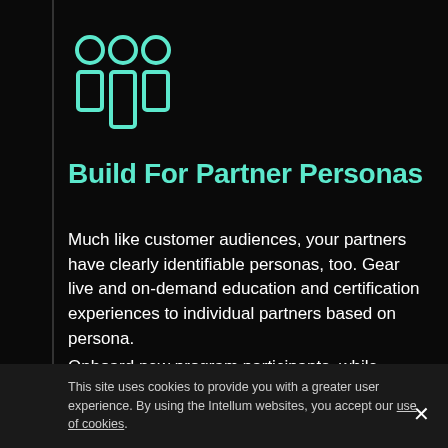[Figure (illustration): Teal/mint colored icon of three people (personas) — two circles on top representing heads, three rectangular bodies below, outlined style]
Build For Partner Personas
Much like customer audiences, your partners have clearly identifiable personas, too. Gear live and on-demand education and certification experiences to individual partners based on persona.
Onboard new program participants, while providing more experienced partners with advanced skills development.
This site uses cookies to provide you with a greater user experience. By using the Intellum websites, you accept our use of cookies.